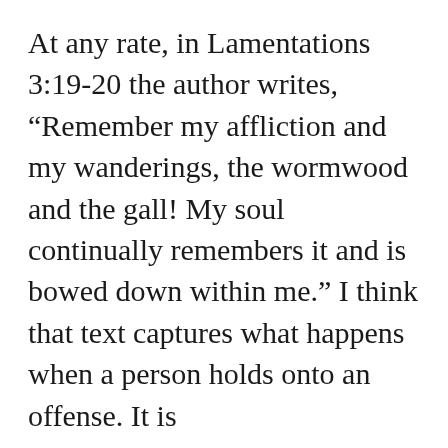At any rate, in Lamentations 3:19-20 the author writes, “Remember my affliction and my wanderings, the wormwood and the gall! My soul continually remembers it and is bowed down within me.” I think that text captures what happens when a person holds onto an offense. It is
Advertisements
[Figure (infographic): DuckDuckGo advertisement banner with orange background. Left side reads 'Search, browse, and email with more privacy. All in One Free App'. Right side shows a smartphone with the DuckDuckGo duck logo and brand name.]